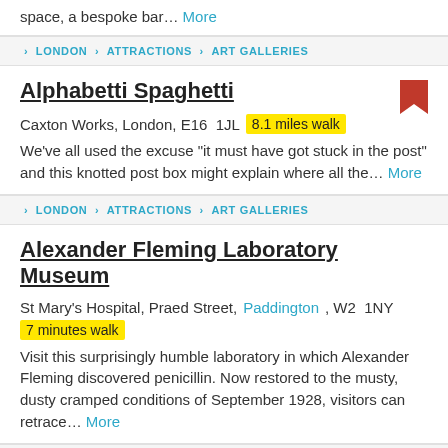space, a bespoke bar… More
› LONDON › ATTRACTIONS › ART GALLERIES
Alphabetti Spaghetti
Caxton Works, London, E16  1JL   8.1 miles walk
We've all used the excuse "it must have got stuck in the post" and this knotted post box might explain where all the… More
› LONDON › ATTRACTIONS › ART GALLERIES
Alexander Fleming Laboratory Museum
St Mary's Hospital, Praed Street, Paddington, W2  1NY
7 minutes walk
Visit this surprisingly humble laboratory in which Alexander Fleming discovered penicillin. Now restored to the musty, dusty cramped conditions of September 1928, visitors can retrace… More
› LONDON › ATTRACTIONS › MUSEUMS